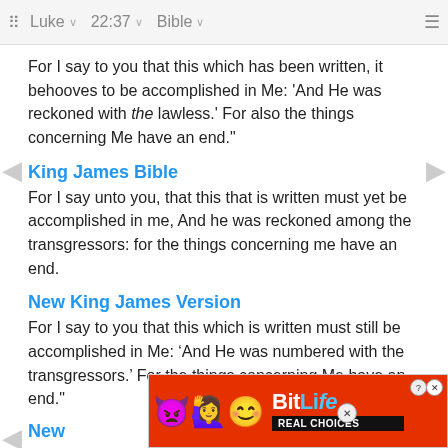Luke  22:37  Bible
For I say to you that this which has been written, it behooves to be accomplished in Me: 'And He was reckoned with the lawless.' For also the things concerning Me have an end."
King James Bible
For I say unto you, that this that is written must yet be accomplished in me, And he was reckoned among the transgressors: for the things concerning me have an end.
New King James Version
For I say to you that this which is written must still be accomplished in Me: ‘And He was numbered with the transgressors.’ For the things concerning Me have an end."
New
For I
[Figure (screenshot): BitLife Real Choices advertisement banner with emoji characters on red background]